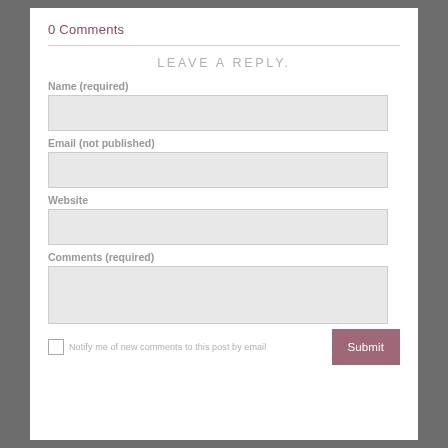0 Comments
LEAVE A REPLY.
Name (required)
Email (not published)
Website
Comments (required)
Notify me of new comments to this post by email
Submit